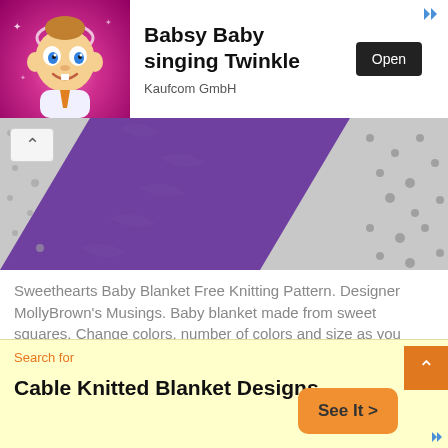[Figure (screenshot): Advertisement banner with animated baby character on pink background, 'Babsy Baby singing Twinkle' title, Kaufcom GmbH subtitle, Open button, and ad arrows]
[Figure (photo): Close-up photo of a knitted baby blanket with purple diagonal stripe on grey lace knitting pattern, with a scroll-up chevron button overlay]
Sweethearts Baby Blanket Free Knitting Pattern. Designer MollyBrown's Musings. Baby blanket made from sweet squares. Change colors, number of colors and size as you desire. The sample size needed 5 skeins of dark and 4 skeins of light color. Purple color yarn used is no ...
Read More...
Search for
Cable Knitted Blanket Designs
See It >